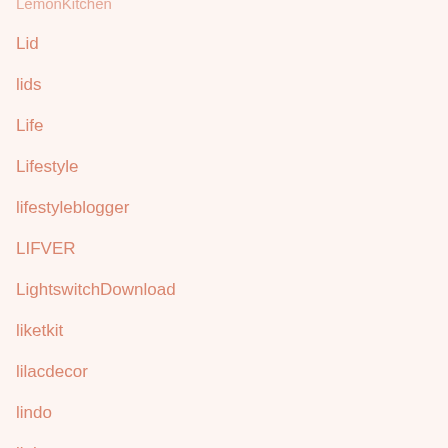LemonKitchen
Lid
lids
Life
Lifestyle
lifestyleblogger
LIFVER
LightswitchDownload
liketkit
lilacdecor
lindo
linkpan
LinusCornerCabinetOrganizer
LIONWEILIONWELI
littlejungle